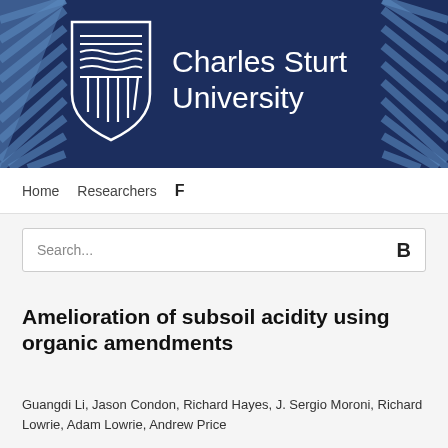[Figure (logo): Charles Sturt University banner with shield logo on dark navy background with diagonal stripe decorations on left and right sides]
Home   Researchers   F
Search...   B
Amelioration of subsoil acidity using organic amendments
Guangdi Li, Jason Condon, Richard Hayes, J. Sergio Moroni, Richard Lowrie, Adam Lowrie, Andrew Price